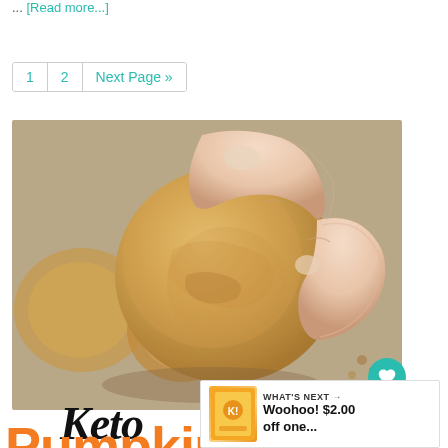... [Read more...]
1  2  Next Page »
[Figure (photo): A hand holding a golden-brown keto pumpkin spice fat bomb ball, with more fat bombs blurred in the background.]
Keto
Pumpkin Spice